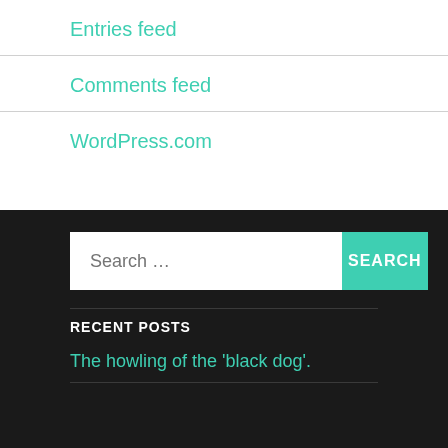Entries feed
Comments feed
WordPress.com
RECENT POSTS
The howling of the 'black dog'.